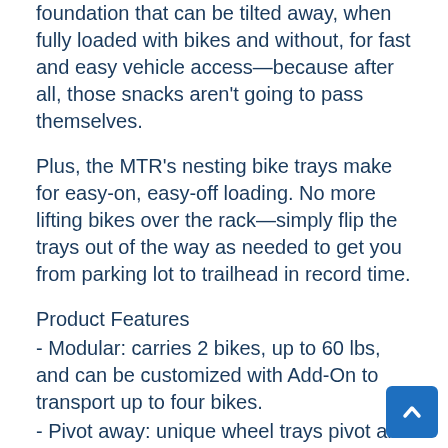foundation that can be tilted away, when fully loaded with bikes and without, for fast and easy vehicle access—because after all, those snacks aren't going to pass themselves.
Plus, the MTR's nesting bike trays make for easy-on, easy-off loading. No more lifting bikes over the rack—simply flip the trays out of the way as needed to get you from parking lot to trailhead in record time.
Product Features
- Modular: carries 2 bikes, up to 60 lbs, and can be customized with Add-On to transport up to four bikes.
- Pivot away: unique wheel trays pivot and nest for easy loading and compact storage.
- Dual-arm holders are compatible with a wide range of tire sizes, and never touch the bike's frame
- Full Tilt: tilting mechanism for easy hatch acce
- Complete Integrated Security: locks the rack to